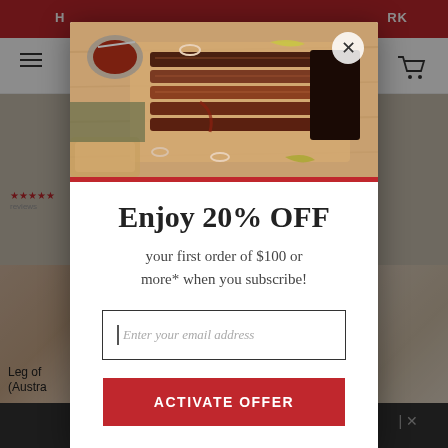[Figure (screenshot): Background website page with red top bar, navigation with hamburger menu and cart icon, and product listing area showing meat products]
[Figure (photo): Food photo showing sliced BBQ brisket on a wooden cutting board with sauce, onion rings, and peppers]
Enjoy 20% OFF
your first order of $100 or more* when you subscribe!
Enter your email address
ACTIVATE OFFER